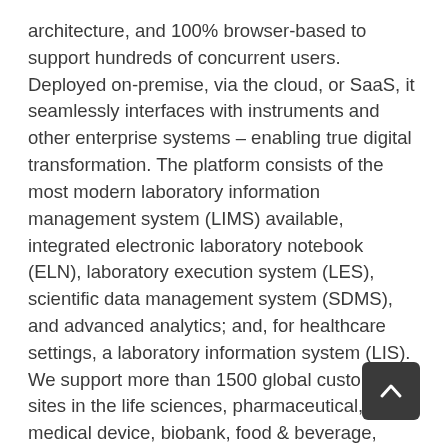architecture, and 100% browser-based to support hundreds of concurrent users. Deployed on-premise, via the cloud, or SaaS, it seamlessly interfaces with instruments and other enterprise systems – enabling true digital transformation. The platform consists of the most modern laboratory information management system (LIMS) available, integrated electronic laboratory notebook (ELN), laboratory execution system (LES), scientific data management system (SDMS), and advanced analytics; and, for healthcare settings, a laboratory information system (LIS). We support more than 1500 global customer sites in the life sciences, pharmaceutical, medical device, biobank, food & beverage, consumer packaged goods, oil & gas, genetics/diagnostics, and healthcare industries. Headquartered in Somerset, NJ, with global offices, LabVantage has offered its comprehensive portfolio of products and services to enable customers to innovate faster in the R&D cycle, improve manufactured product
[Figure (other): Dark grey rounded square scroll-to-top button with an upward-pointing chevron arrow icon]